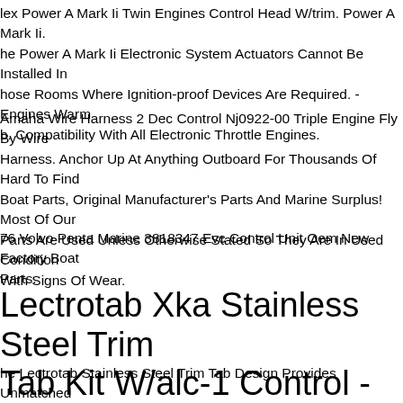lex Power A Mark Ii Twin Engines Control Head W/trim. Power A Mark Ii. he Power A Mark Ii Electronic System Actuators Cannot Be Installed In hose Rooms Where Ignition-proof Devices Are Required. - Engines Warm b. Compatibility With All Electronic Throttle Engines.
Amaha Wire Harness 2 Dec Control Nj0922-00 Triple Engine Fly By Wire Harness. Anchor Up At Anything Outboard For Thousands Of Hard To Find Boat Parts, Original Manufacturer's Parts And Marine Surplus! Most Of Our Parts Are Used Unless Otherwise Stated So They Are In Used Condition With Signs Of Wear.
76 Volvo Penta Marine 3818347 Evc Control Unit Oem New Factory Boat Parts.
Lectrotab Xka Stainless Steel Trim Tab Kit W/alc-1 Control - 12 X 18
he Lectrotab Stainless Steel Trim Tab Design Provides Unmatched Strength And Reliability. All Stainless Steel Tabs Are Fabricated With A Continuous Rolled And Pinned Hinge. This Design Eliminates The Need For Welding.